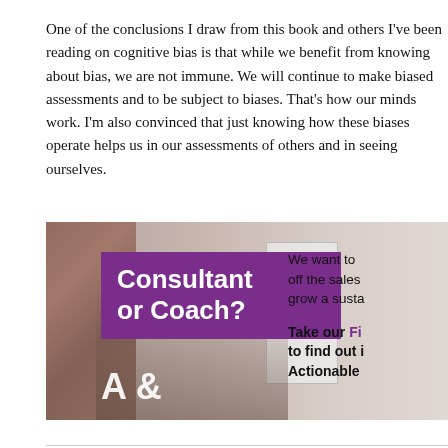One of the conclusions I draw from this book and others I've been reading on cognitive bias is that while we benefit from knowing about bias, we are not immune. We will continue to make biased assessments and to be subject to biases. That's how our minds work. I'm also convinced that just knowing how these biases operate helps us in our assessments of others and in seeing ourselves.
[Figure (photo): Advertisement banner showing a group coaching/consulting session with people around a whiteboard. Left side has a purple banner with text 'Consultant or Coach?' and an 'A&' logo. Right side has text about a free quiz to find out actionable information.]